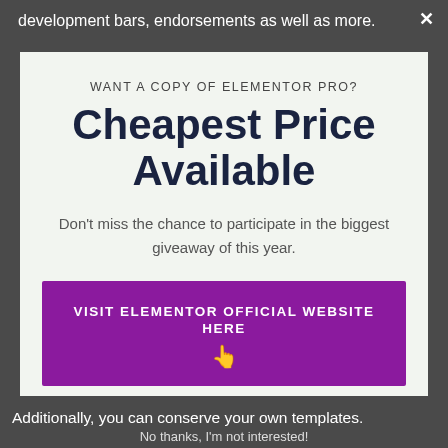development bars, endorsements as well as more.
[Figure (screenshot): Modal popup with purple CTA button promoting Elementor Pro giveaway]
Additionally, you can conserve your own templates.
No thanks, I'm not interested!